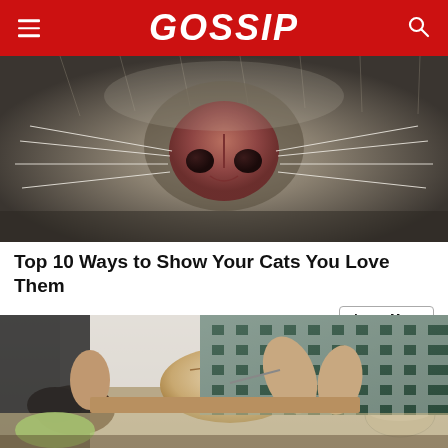GOSSIP
[Figure (photo): Close-up photo of a cat's nose and whiskers, gray fur filling the frame]
Top 10 Ways to Show Your Cats You Love Them
ViralBezz
Learn More
[Figure (photo): Person in a green checkered shirt scoring or preparing a round loaf of bread dough on a baking tray, with other bread and bowls visible on the counter]